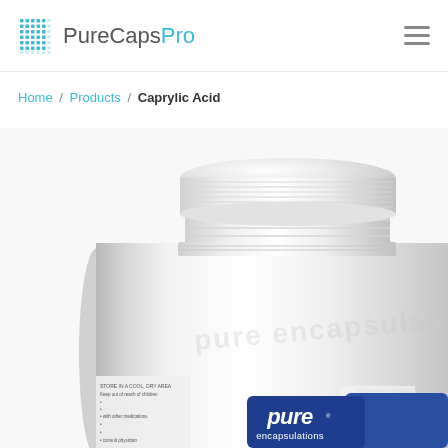PureCapsPro
Home / Products / Caprylic Acid
[Figure (photo): White plastic supplement bottle with white cap showing Pure Encapsulations logo label, product Caprylic Acid. Photo shows the top portion and upper body of the bottle with a blue Pure encapsulations label visible at the bottom of the frame.]